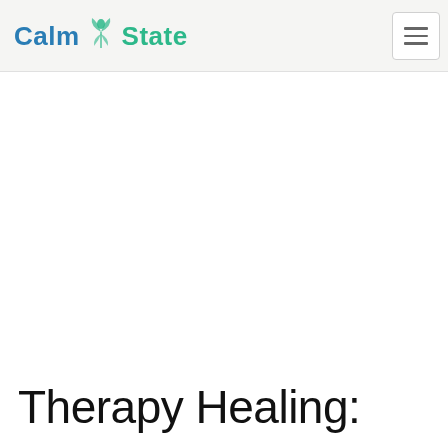[Figure (logo): Calm State logo with teal lotus/leaf icon between blue 'Calm' and green 'State' text]
Therapy Healing: